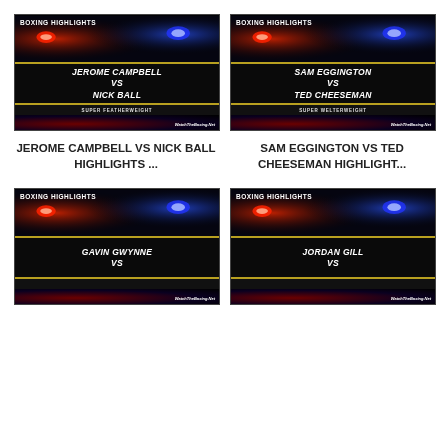[Figure (screenshot): Boxing highlights thumbnail: Jerome Campbell vs Nick Ball, Super Featherweight, WatchTheBoxing.Net]
[Figure (screenshot): Boxing highlights thumbnail: Sam Eggington vs Ted Cheeseman, Super Welterweight, WatchTheBoxing.Net]
JEROME CAMPBELL VS NICK BALL HIGHLIGHTS ...
SAM EGGINGTON VS TED CHEESEMAN HIGHLIGHT...
[Figure (screenshot): Boxing highlights thumbnail: Gavin Gwynne vs [opponent], WatchTheBoxing.Net]
[Figure (screenshot): Boxing highlights thumbnail: Jordan Gill vs [opponent], WatchTheBoxing.Net]